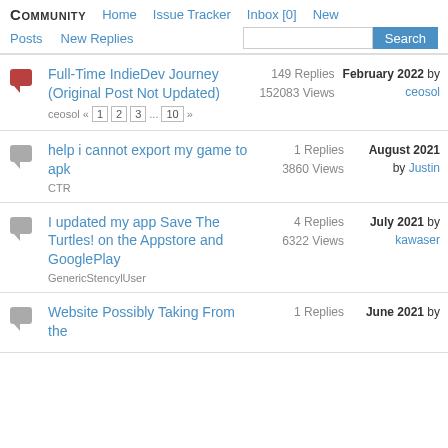COMMUNITY  Home  Issue Tracker  Inbox [0]  New  Posts  New Replies  Search
Full-Time IndieDev Journey (Original Post Not Updated) | 149 Replies 152083 Views | February 2022 by ceosol
help i cannot export my game to apk | 1 Replies 3860 Views | August 2021 by Justin
I updated my app Save The Turtles! on the Appstore and GooglePlay | 4 Replies 6322 Views | July 2021 by kawaser
Website Possibly Taking From the | 1 Replies | June 2021 by